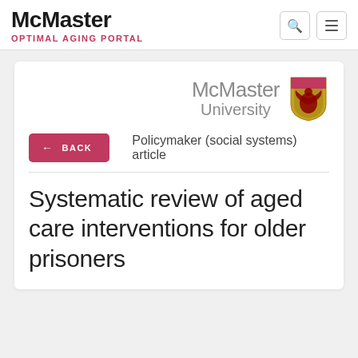McMaster OPTIMAL AGING PORTAL
[Figure (logo): McMaster University logo with shield crest in gold and red]
Policymaker (social systems) article
← BACK
Systematic review of aged care interventions for older prisoners